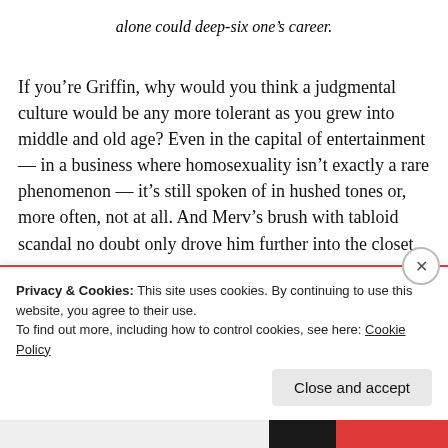alone could deep-six one's career.
If you're Griffin, why would you think a judgmental culture would be any more tolerant as you grew into middle and old age? Even in the capital of entertainment — in a business where homosexuality isn't exactly a rare phenomenon — it's still spoken of in hushed tones or, more often, not at all. And Merv's brush with tabloid scandal no doubt only drove him further into the closet.
Privacy & Cookies: This site uses cookies. By continuing to use this website, you agree to their use.
To find out more, including how to control cookies, see here: Cookie Policy
Close and accept